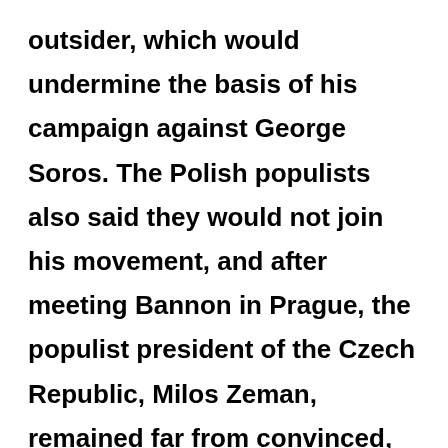outsider, which would undermine the basis of his campaign against George Soros. The Polish populists also said they would not join his movement, and after meeting Bannon in Prague, the populist president of the Czech Republic, Milos Zeman, remained far from convinced, as he himself reported: “He asked for an audience, got thirty